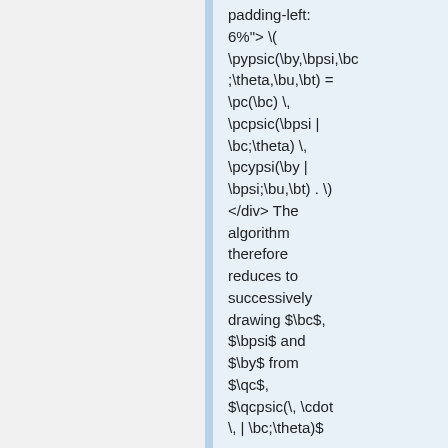padding-left: 6%"> \( \pypsic(\by,\bpsi,\bc;\theta,\bu,\bt) = \pc(\bc) \, \pcpsic(\bpsi | \bc;\theta) \, \pcypsi(\by | \bpsi;\bu,\bt) . \) </div> The algorithm therefore reduces to successively drawing $\bc$, $\bpsi$ and $\by$ from $\qc$, $\qcpsic(\, \cdot \, | \bc;\theta)$